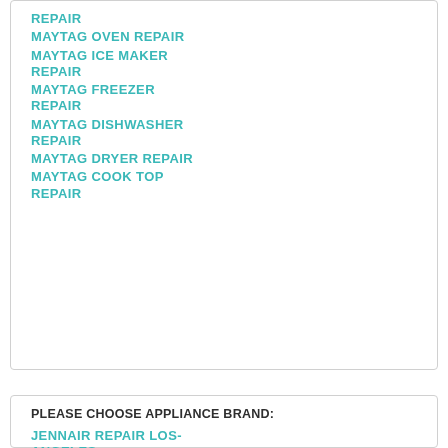REPAIR
MAYTAG OVEN REPAIR
MAYTAG ICE MAKER REPAIR
MAYTAG FREEZER REPAIR
MAYTAG DISHWASHER REPAIR
MAYTAG DRYER REPAIR
MAYTAG COOK TOP REPAIR
PLEASE CHOOSE APPLIANCE BRAND:
JENNAIR REPAIR LOS-ANGELES